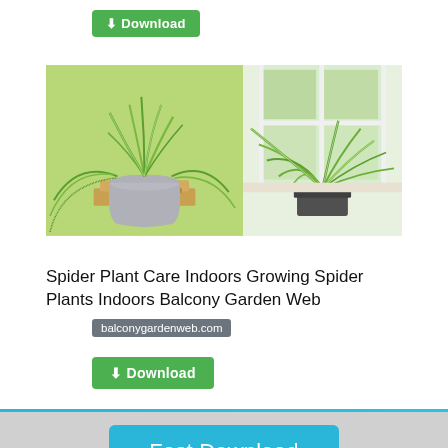[Figure (photo): Two spider plants in pots — left: a spider plant with long trailing variegated leaves in a grey pot on a wooden stand against a green background; right: a spider plant with spiky green and white striped leaves near a white window.]
Spider Plant Care Indoors Growing Spider Plants Indoors Balcony Garden Web
balconygardenweb.com
⬇ Download
Fast Download